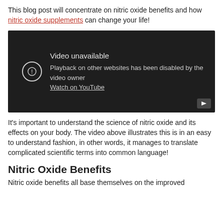This blog post will concentrate on nitric oxide benefits and how nitric oxide supplements can change your life!
[Figure (screenshot): Embedded YouTube video player showing 'Video unavailable' message: 'Playback on other websites has been disabled by the video owner. Watch on YouTube.']
It's important to understand the science of nitric oxide and its effects on your body. The video above illustrates this is in an easy to understand fashion, in other words, it manages to translate complicated scientific terms into common language!
Nitric Oxide Benefits
Nitric oxide benefits all base themselves on the improved…